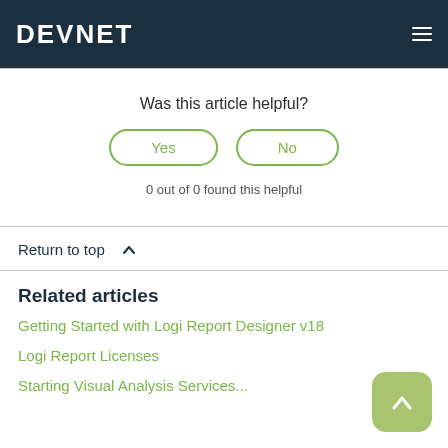DEVNET
Was this article helpful?
Yes   No
0 out of 0 found this helpful
Return to top ∧
Related articles
Getting Started with Logi Report Designer v18
Logi Report Licenses
Starting Visual Analysis Services...